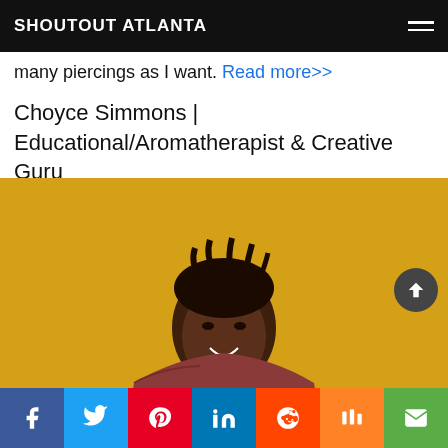SHOUTOUT ATLANTA
many piercings as I want. Read more>>
Choyce Simmons | Educational/Aromatherapist & Creative Guru
[Figure (photo): Portrait of Choyce Simmons, a Black woman with locs wearing a dark red top, smiling against a bright yellow background]
Social share bar: Facebook, Twitter, Pinterest, LinkedIn, Reddit, Mix, Email